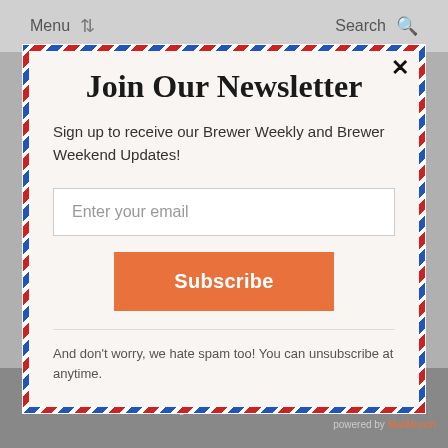Menu   Search
Join Our Newsletter
Sign up to receive our Brewer Weekly and Brewer Weekend Updates!
Enter your email
Subscribe
And don't worry, we hate spam too! You can unsubscribe at anytime.
About Us  Advertising  Brewer Guide  Supporter Insider
Careers  The Brewer Advantage
powered by MailMunch